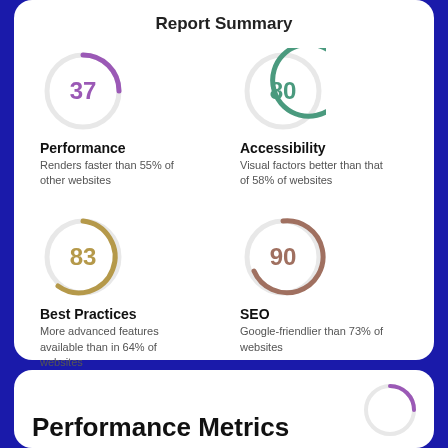Report Summary
[Figure (infographic): Four circular gauge metrics: Performance 37, Accessibility 80, Best Practices 83, SEO 90]
Performance
Renders faster than 55% of other websites
Accessibility
Visual factors better than that of 58% of websites
Best Practices
More advanced features available than in 64% of websites
SEO
Google-friendlier than 73% of websites
Performance Metrics